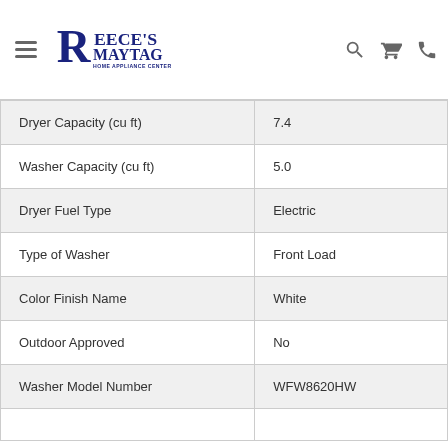Reece's Maytag Home Appliance Center
| Specification | Value |
| --- | --- |
| Dryer Capacity (cu ft) | 7.4 |
| Washer Capacity (cu ft) | 5.0 |
| Dryer Fuel Type | Electric |
| Type of Washer | Front Load |
| Color Finish Name | White |
| Outdoor Approved | No |
| Washer Model Number | WFW8620HW |